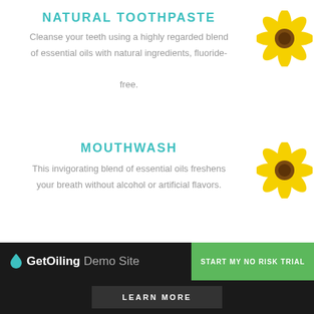NATURAL TOOTHPASTE
Cleanse your teeth using a highly regarded blend of essential oils with natural ingredients, fluoride-free.
[Figure (illustration): Yellow daisy/sunflower illustration]
MOUTHWASH
This invigorating blend of essential oils freshens your breath without alcohol or artificial flavors.
[Figure (illustration): Yellow daisy/sunflower illustration]
DEODORANT
A healthy, toxin-free choice to deodorize your body
[Figure (illustration): Yellow daisy/sunflower illustration]
GetOiling Demo Site  START MY NO RISK TRIAL  LEARN MORE